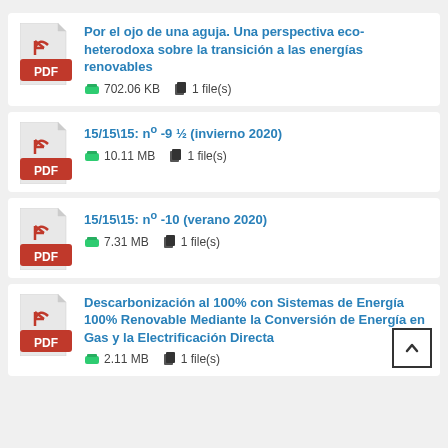Por el ojo de una aguja. Una perspectiva eco-heterodoxa sobre la transición a las energías renovables — 702.06 KB, 1 file(s)
15/15\15: nº -9 ½ (invierno 2020) — 10.11 MB, 1 file(s)
15/15\15: nº -10 (verano 2020) — 7.31 MB, 1 file(s)
Descarbonización al 100% con Sistemas de Energía 100% Renovable Mediante la Conversión de Energía en Gas y la Electrificación Directa — 2.11 MB, 1 file(s)